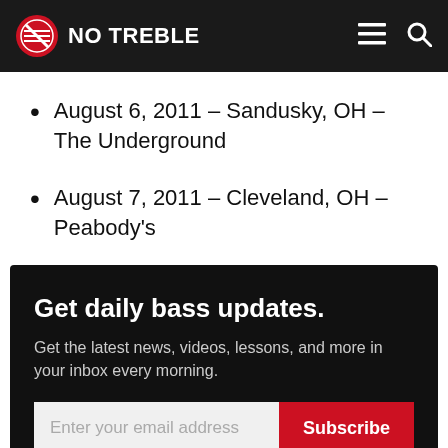NO TREBLE
August 6, 2011 – Sandusky, OH – The Underground
August 7, 2011 – Cleveland, OH – Peabody's
Get daily bass updates.
Get the latest news, videos, lessons, and more in your inbox every morning.
Enter your email address  Subscribe